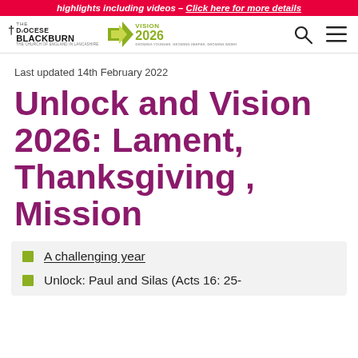highlights including videos – Click here for more details
[Figure (logo): Diocese of Blackburn logo with cross and Vision 2026 logo, plus navigation search and menu icons]
Last updated 14th February 2022
Unlock and Vision 2026: Lament, Thanksgiving , Mission
A challenging year
Unlock: Paul and Silas (Acts 16: 25-